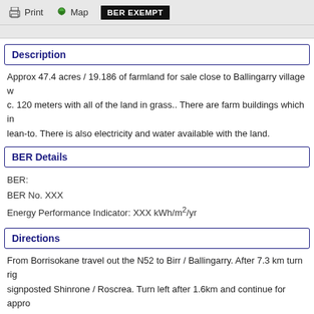Print   Map   BER EXEMPT
Description
Approx 47.4 acres / 19.186 of farmland for sale close to Ballingarry village w... c. 120 meters with all of the land in grass.. There are farm buildings which in... lean-to. There is also electricity and water available with the land.
BER Details
BER:
BER No. XXX
Energy Performance Indicator: XXX kWh/m²/yr
Directions
From Borrisokane travel out the N52 to Birr / Ballingarry. After 7.3 km turn rig... signposted Shinrone / Roscrea. Turn left after 1.6km and continue for appro... left
Viewing Details
By appointment only